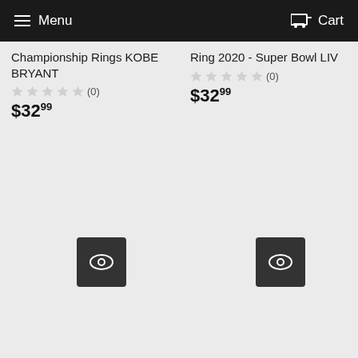Menu  Cart
Championship Rings KOBE BRYANT
★★★★★ (0)
$32.99
Ring 2020 - Super Bowl LIV
★★★★★ (0)
$32.99
[Figure (other): Quick view eye icon button - left product]
[Figure (other): Quick view eye icon button - right product]